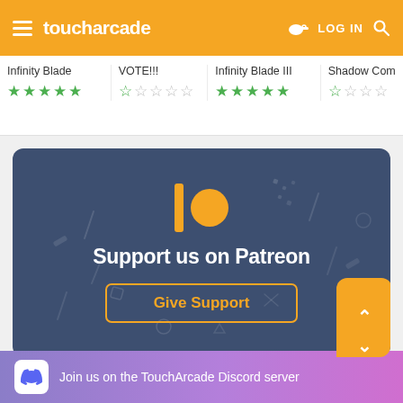toucharcade — LOG IN
Infinity Blade ★★★★★
VOTE!!! ☆☆☆☆☆
Infinity Blade III ★★★★★
Shadow Com ☆☆☆☆
[Figure (infographic): Patreon support banner with Patreon logo (orange vertical bar and orange circle), text 'Support us on Patreon', and a 'Give Support' button with orange border on dark blue background with decorative geometric shapes]
Join us on the TouchArcade Discord server